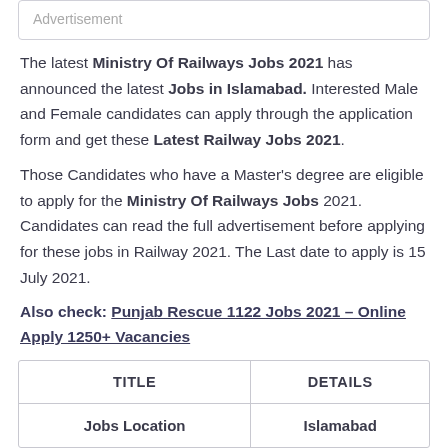Advertisement
The latest Ministry Of Railways Jobs 2021 has announced the latest Jobs in Islamabad. Interested Male and Female candidates can apply through the application form and get these Latest Railway Jobs 2021.
Those Candidates who have a Master's degree are eligible to apply for the Ministry Of Railways Jobs 2021. Candidates can read the full advertisement before applying for these jobs in Railway 2021. The Last date to apply is 15 July 2021.
Also check: Punjab Rescue 1122 Jobs 2021 – Online Apply 1250+ Vacancies
| TITLE | DETAILS |
| --- | --- |
| Jobs Location | Islamabad |